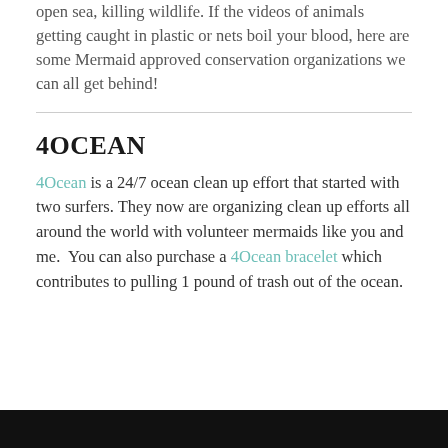open sea, killing wildlife. If the videos of animals getting caught in plastic or nets boil your blood, here are some Mermaid approved conservation organizations we can all get behind!
4OCEAN
4Ocean is a 24/7 ocean clean up effort that started with two surfers. They now are organizing clean up efforts all around the world with volunteer mermaids like you and me. You can also purchase a 4Ocean bracelet which contributes to pulling 1 pound of trash out of the ocean.
[Figure (other): Black bar at bottom of page]